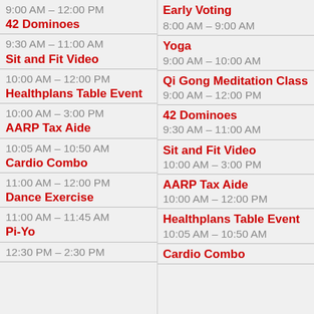9:00 AM – 12:00 PM / 42 Dominoes
9:30 AM – 11:00 AM / Sit and Fit Video
10:00 AM – 12:00 PM / Healthplans Table Event
10:00 AM – 3:00 PM / AARP Tax Aide
10:05 AM – 10:50 AM / Cardio Combo
11:00 AM – 12:00 PM / Dance Exercise
11:00 AM – 11:45 AM / Pi-Yo
12:30 PM – 2:30 PM
Early Voting
8:00 AM – 9:00 AM / Yoga
9:00 AM – 10:00 AM / Qi Gong Meditation Class
9:00 AM – 12:00 PM / 42 Dominoes
9:30 AM – 11:00 AM / Sit and Fit Video
10:00 AM – 3:00 PM / AARP Tax Aide
10:00 AM – 12:00 PM / Healthplans Table Event
10:05 AM – 10:50 AM / Cardio Combo